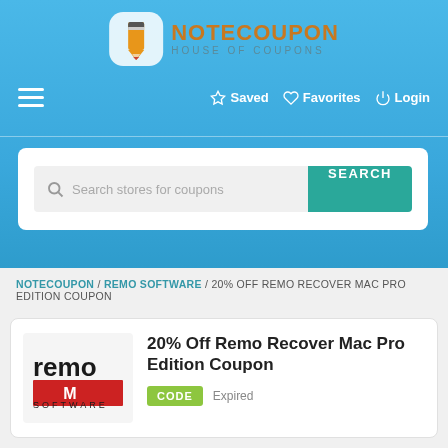[Figure (logo): NoteCoupon House of Coupons logo with pencil icon]
≡   ☆ Saved  ♡ Favorites  ⏻ Login
[Figure (screenshot): Search bar with placeholder 'Search stores for coupons' and a teal SEARCH button]
NOTECOUPON / REMO SOFTWARE / 20% OFF REMO RECOVER MAC PRO EDITION COUPON
20% Off Remo Recover Mac Pro Edition Coupon
CODE   Expired